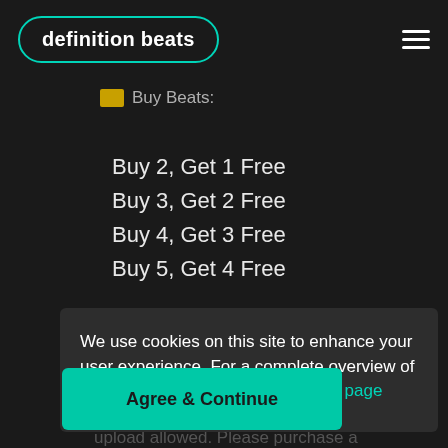definition beats
Buy Beats:
Buy 2, Get 1 Free
Buy 3, Get 2 Free
Buy 4, Get 3 Free
Buy 5, Get 4 Free
FREE Free Downloads: For promotional/non-profit uses only. Free
We use cookies on this site to enhance your user experience. For a complete overview of all related settings, please see this page
Agree & Continue
on albums, mixtapes, tv, and radio-airplay, live